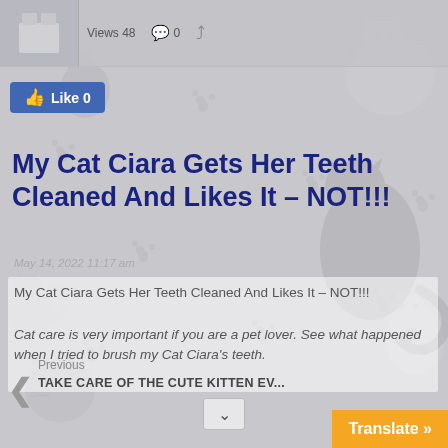Views 48  0
[Figure (screenshot): Facebook Like button showing 'Like 0' in blue]
My Cat Ciara Gets Her Teeth Cleaned And Likes It – NOT!!!
May 14, 2022 11:17 am
My Cat Ciara Gets Her Teeth Cleaned And Likes It – NOT!!!
Cat care is very important if you are a pet lover. See what happened when I tried to brush my Cat Ciara's teeth.
Previous
TAKE CARE OF THE CUTE KITTEN EV...
Translate »